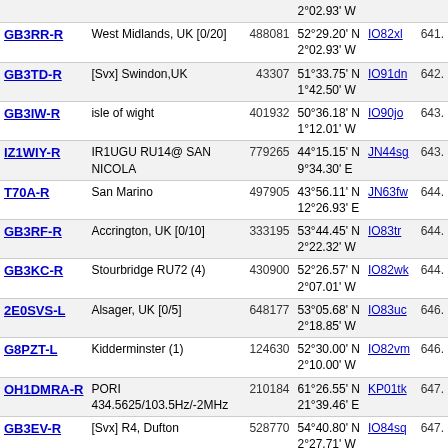| Callsign | Location | ID | Coordinates | Locator | Freq |
| --- | --- | --- | --- | --- | --- |
|  |  |  | 2°02.93' W |  |  |
| GB3RR-R | West Midlands, UK [0/20] | 488081 | 52°29.20' N 2°02.93' W | IO82xl | 641. |
| GB3TD-R | [Svx] Swindon,UK | 43307 | 51°33.75' N 1°42.50' W | IO91dn | 642. |
| GB3IW-R | isle of wight | 401932 | 50°36.18' N 1°12.01' W | IO90jo | 643. |
| IZ1WIY-R | IR1UGU RU14@ SAN NICOLA | 779265 | 44°15.15' N 9°34.30' E | JN44sg | 643. |
| T70A-R | San Marino | 497905 | 43°56.11' N 12°26.93' E | JN63fw | 644. |
| GB3RF-R | Accrington, UK [0/10] | 333195 | 53°44.45' N 2°22.32' W | IO83tr | 644. |
| GB3KC-R | Stourbridge RU72 (4) | 430900 | 52°26.57' N 2°07.01' W | IO82wk | 644. |
| 2E0SVS-L | Alsager, UK [0/5] | 648177 | 53°05.68' N 2°18.85' W | IO83uc | 646. |
| G8PZT-L | Kidderminster (1) | 124630 | 52°30.00' N 2°10.00' W | IO82vm | 646. |
| OH1DMRA-R | PORI 434.5625/103.5Hz/-2MHz | 210184 | 61°26.55' N 21°39.46' E | KP01tk | 647. |
| GB3EV-R | [Svx] R4, Dufton | 528770 | 54°40.80' N 2°27.71' W | IO84sq | 647. |
| E75BM-L | Tuzla RU696 438.700 -7.6 | 293939 | 44°32.38' N 18°39.60' E | JN94hm | 648. |
| IU1LIQ-R | [Svx] La Spezia JN44VC | 456822 | 44°06.78' N 9°48.66' E | JN44vc | 650. |